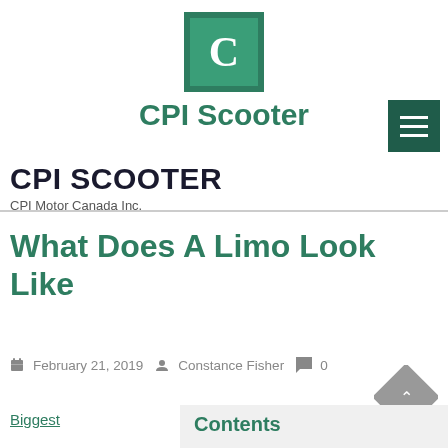[Figure (logo): CPI Scooter logo: dark green square border with lighter green inner square containing white letter C]
CPI Scooter
CPI SCOOTER
CPI Motor Canada Inc.
What Does A Limo Look Like
February 21, 2019   Constance Fisher   0 Comments
Biggest
Contents